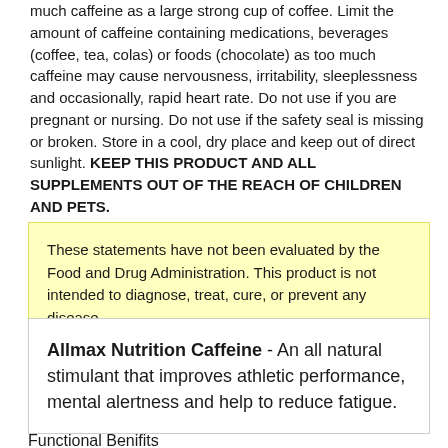much caffeine as a large strong cup of coffee. Limit the amount of caffeine containing medications, beverages (coffee, tea, colas) or foods (chocolate) as too much caffeine may cause nervousness, irritability, sleeplessness and occasionally, rapid heart rate. Do not use if you are pregnant or nursing. Do not use if the safety seal is missing or broken. Store in a cool, dry place and keep out of direct sunlight. KEEP THIS PRODUCT AND ALL SUPPLEMENTS OUT OF THE REACH OF CHILDREN AND PETS.
These statements have not been evaluated by the Food and Drug Administration. This product is not intended to diagnose, treat, cure, or prevent any disease.
Allmax Nutrition Caffeine - An all natural stimulant that improves athletic performance, mental alertness and help to reduce fatigue.
Functional Benifits